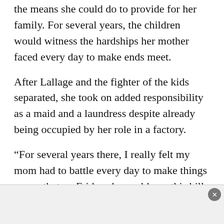the means she could do to provide for her family. For several years, the children would witness the hardships her mother faced every day to make ends meet.
After Lallage and the fighter of the kids separated, she took on added responsibility as a maid and a laundress despite already being occupied by her role in a factory.
“For several years there, I really felt my mom had to battle every day to make things go, so that on Friday she could pay this bill and that and then have enough left for food,” Roy remembered his humble beginnings in an interview. “Some of my worst memories are coming home in sixth or